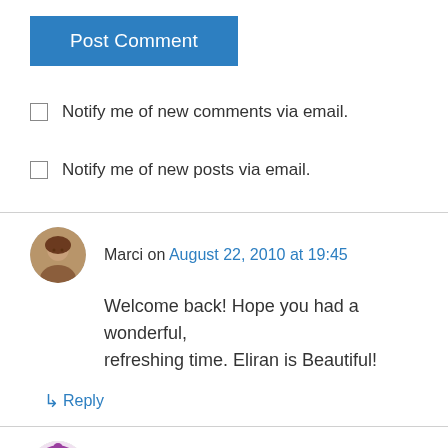Post Comment
Notify me of new comments via email.
Notify me of new posts via email.
Marci on August 22, 2010 at 19:45
Welcome back! Hope you had a wonderful, refreshing time. Eliran is Beautiful!
Reply
Terry on August 22, 2010 at 22:41
Nah, we didn't miss you or get tired of "Black